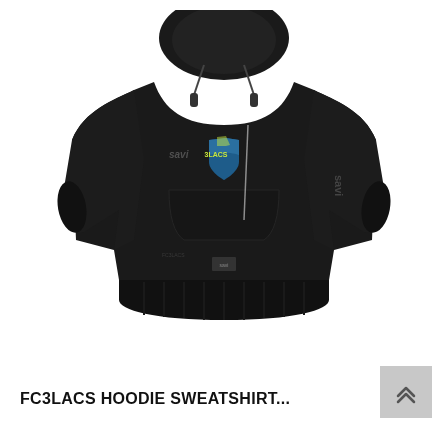[Figure (photo): Black FC3LACS hoodie sweatshirt displayed on a mannequin. The hoodie is black with a savi brand logo on the chest left side, an FC3LACS shield logo on the chest right side, a silver/reflective zipper detail on the front, and savi branding text on the right sleeve. The hoodie has a standard kangaroo pocket and drawstring hood.]
FC3LACS HOODIE SWEATSHIRT...